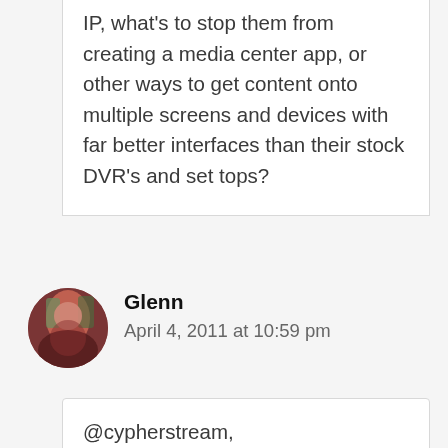IP, what's to stop them from creating a media center app, or other ways to get content onto multiple screens and devices with far better interfaces than their stock DVR's and set tops?
Glenn
April 4, 2011 at 10:59 pm
@cypherstream,

If TW got cease and decist letters so will Cablevision. I just think Cablevision won't buckle like TW did.